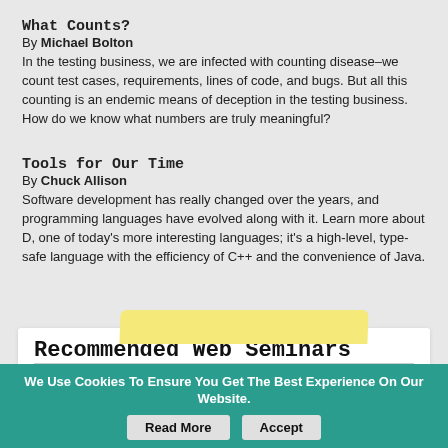What Counts?
By Michael Bolton
In the testing business, we are infected with counting disease–we count test cases, requirements, lines of code, and bugs. But all this counting is an endemic means of deception in the testing business. How do we know what numbers are truly meaningful?
Tools for Our Time
By Chuck Allison
Software development has really changed over the years, and programming languages have evolved along with it. Learn more about D, one of today's more interesting languages; it's a high-level, type-safe language with the efficiency of C++ and the convenience of Java.
Recommended Web Seminars
Aug 25 — From Spreadsheets to Scalable, Streamlined Test Management
Sep 08 — 5 Pandemic-Inspired Lessons That Can Improve Your App Quality Today
We Use Cookies To Ensure You Get The Best Experience On Our Website. Read More Accept